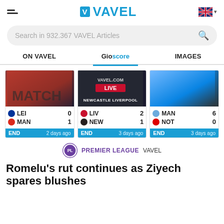VAVEL
Search in 932.367 VAVEL Articles
ON VAVEL | Gioscore | IMAGES
[Figure (screenshot): Three football match score cards: LEI 0 - MAN 1 (END, 2 days ago), LIV 2 - NEW 1 (END, 3 days ago), MAN 6 - NOT 0 (END, 3 days ago)]
PREMIER LEAGUE VAVEL
Romelu's rut continues as Ziyech spares blushes